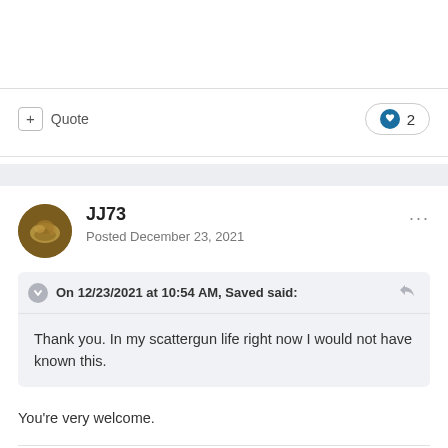+ Quote
2
JJ73
Posted December 23, 2021
On 12/23/2021 at 10:54 AM, Saved said:
Thank you. In my scattergun life right now I would not have known this.
You're very welcome.